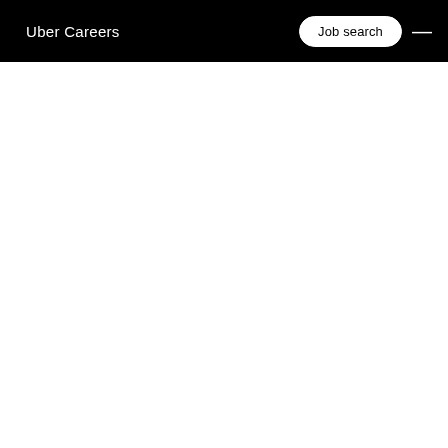Uber Careers | Job search
[Figure (screenshot): White blank content area below the navigation header]